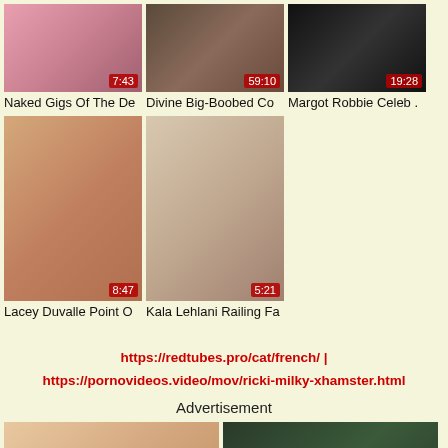[Figure (photo): Video thumbnail with duration 7:43]
[Figure (photo): Video thumbnail with duration 59:10]
[Figure (photo): Video thumbnail with duration 19:28]
Naked Gigs Of The De
Divine Big-Boobed Co
Margot Robbie Celeb .
[Figure (photo): Video thumbnail with duration 8:47]
[Figure (photo): Video thumbnail with duration 5:21]
Lacey Duvalle Point O
Kala Lehlani Railing Fa
https://redtubes.pro/cat/french/ | https://pornovideos.video/mov/ricki-milky-xhamster.html
Advertisement
[Figure (photo): Advertisement image left]
[Figure (photo): Advertisement image right]